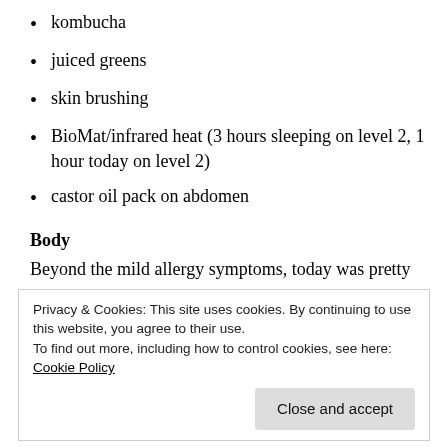kombucha
juiced greens
skin brushing
BioMat/infrared heat (3 hours sleeping on level 2, 1 hour today on level 2)
castor oil pack on abdomen
Body
Beyond the mild allergy symptoms, today was pretty
Privacy & Cookies: This site uses cookies. By continuing to use this website, you agree to their use.
To find out more, including how to control cookies, see here: Cookie Policy
I got my period today. I knew it was coming from the